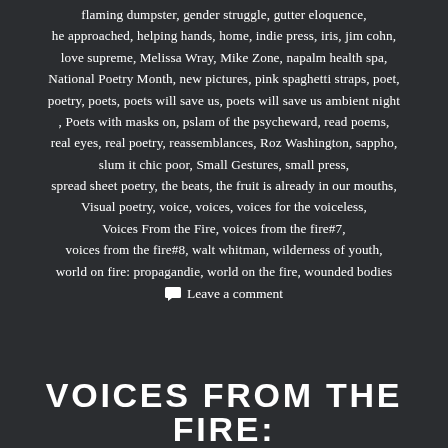flaming dumpster, gender struggle, gutter eloquence, he approached, helping hands, home, indie press, iris, jim cohn, love supreme, Melissa Wray, Mike Zone, napalm health spa, National Poetry Month, new pictures, pink spaghetti straps, poet, poetry, poets, poets will save us, poets will save us ambient night , Poets with masks on, pslam of the psycheward, read poems, real eyes, real poetry, reassemblances, Roz Washington, sappho, slum it chic poor, Small Gestures, small press, spread sheet poetry, the beats, the fruit is already in our mouths, Visual poetry, voice, voices, voices for the voiceless, Voices From the Fire, voices from the fire#7, voices from the fire#8, walt whitman, wilderness of youth, world on fire: propagandie, world on the fire, wounded bodies
Leave a comment
VOICES FROM THE FIRE: